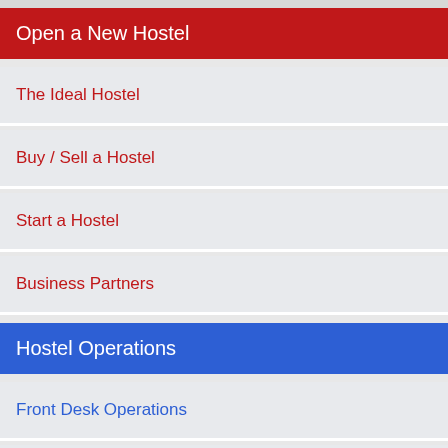Open a New Hostel
The Ideal Hostel
Buy / Sell a Hostel
Start a Hostel
Business Partners
Hostel Operations
Front Desk Operations
Internet Access and Computers
Website, Computer, and Tech Support
Housekeeping and Maintenance